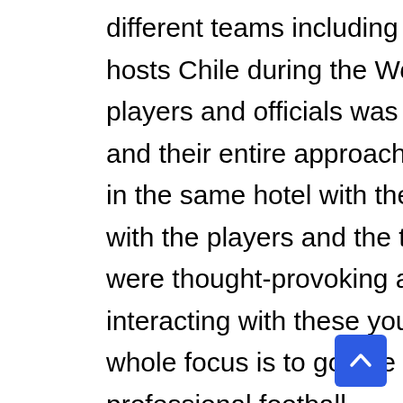different teams including the champions Nigeria and the hosts Chile during the World Cup. To deal with these young players and officials was an altogether different experience and their entire approach was very professional. We stayed in the same hotel with the teams and frequent interactions with the players and the team officials including the coaches were thought-provoking and inspiring ones. While interacting with these youth players one will know that their whole focus is to go one step better at a time and play professional football.
The presence of scouts, especially from European clubs does make the competition a serious affair for these talented youths. However, many of these talented lots were